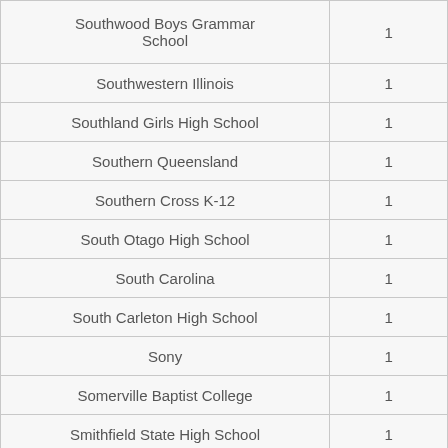| School | Count |
| --- | --- |
| Southwood Boys Grammar School | 1 |
| Southwestern Illinois | 1 |
| Southland Girls High School | 1 |
| Southern Queensland | 1 |
| Southern Cross K-12 | 1 |
| South Otago High School | 1 |
| South Carolina | 1 |
| South Carleton High School | 1 |
| Sony | 1 |
| Somerville Baptist College | 1 |
| Smithfield State High School | 1 |
| SHSU | 1 |
| Shirley Boys' High School | 1 |
| Shipley School | 1 |